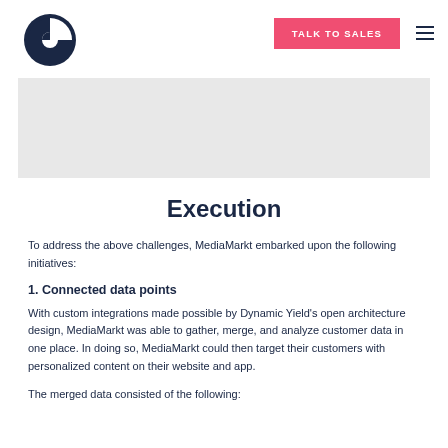TALK TO SALES
[Figure (logo): Circular logo with black quarter-circle segments]
[Figure (photo): Light gray hero image banner]
Execution
To address the above challenges, MediaMarkt embarked upon the following initiatives:
1. Connected data points
With custom integrations made possible by Dynamic Yield's open architecture design, MediaMarkt was able to gather, merge, and analyze customer data in one place. In doing so, MediaMarkt could then target their customers with personalized content on their website and app.
The merged data consisted of the following: